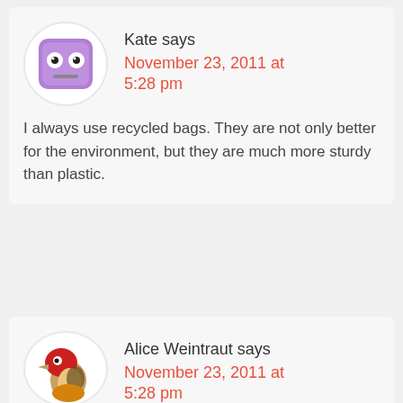Kate says
November 23, 2011 at 5:28 pm
I always use recycled bags. They are not only better for the environment, but they are much more sturdy than plastic.
Alice Weintraut says
November 23, 2011 at 5:28 pm